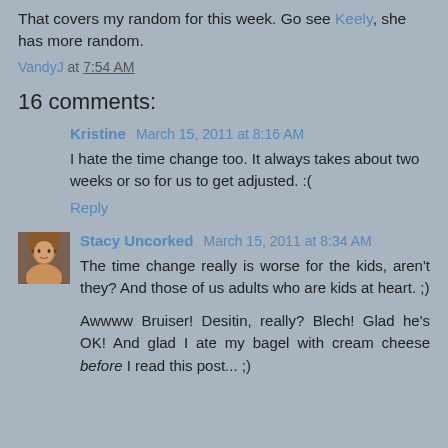That covers my random for this week. Go see Keely, she has more random.
VandyJ at 7:54 AM
16 comments:
Kristine March 15, 2011 at 8:16 AM
I hate the time change too. It always takes about two weeks or so for us to get adjusted. :(
Reply
Stacy Uncorked March 15, 2011 at 8:34 AM
The time change really is worse for the kids, aren't they? And those of us adults who are kids at heart. ;)
Awwww Bruiser! Desitin, really? Blech! Glad he's OK! And glad I ate my bagel with cream cheese before I read this post... ;)